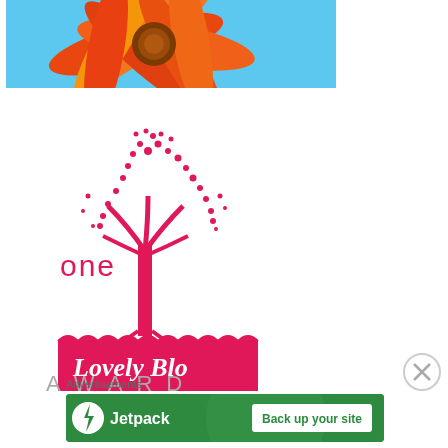[Figure (photo): Close-up photo of an orange flower with yellow center against a blue sky background]
[Figure (logo): One Lovely Blog Award logo featuring a pink/red tree with butterfly-shaped leaves, text 'one' in pink, 'Lovely Blog' in white cursive on pink banner, and 'AWARD' in gray letters below]
[Figure (other): Close button (X in circle) overlay]
Advertisements
[Figure (other): Jetpack advertisement banner with green background, Jetpack logo and 'Back up your site' button]